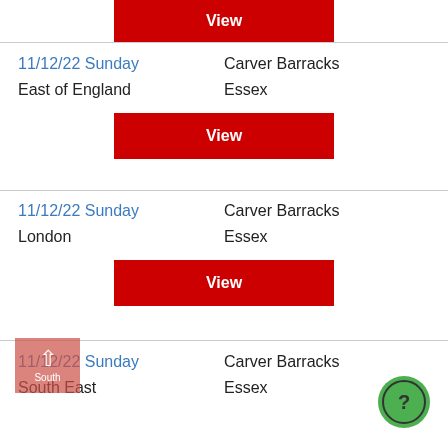View
11/12/22 Sunday  Carver Barracks
East of England  Essex
View
11/12/22 Sunday  Carver Barracks
London  Essex
View
11/12/22 Sunday  Carver Barracks
South East  Essex